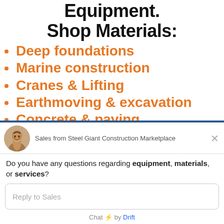Equipment. Shop Materials:
Deep foundations
Marine construction
Cranes & Lifting
Earthmoving & excavation
Concrete & paving
[Figure (screenshot): Chat widget from Steel Giant Construction Marketplace. Avatar photo of a smiling man. Header: 'Sales from Steel Giant Construction Marketplace'. Close button (X). Body text: 'Do you have any questions regarding equipment, materials, or services?' Input field placeholder: 'Reply to Sales'. Footer: 'Chat ⚡ by Drift']